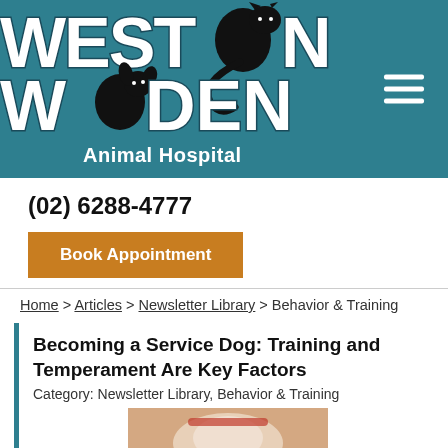[Figure (logo): Weston Woden Animal Hospital logo with black cat silhouette on teal background]
(02) 6288-4777
Book Appointment
Home > Articles > Newsletter Library > Behavior & Training
Becoming a Service Dog: Training and Temperament Are Key Factors
Category: Newsletter Library, Behavior & Training
[Figure (photo): Partial preview of a photo related to a service dog article]